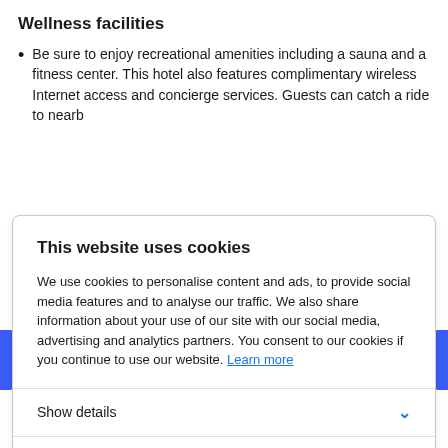Wellness facilities
Be sure to enjoy recreational amenities including a sauna and a fitness center. This hotel also features complimentary wireless Internet access and concierge services. Guests can catch a ride to nearb
This website uses cookies
We use cookies to personalise content and ads, to provide social media features and to analyse our traffic. We also share information about your use of our site with our social media, advertising and analytics partners. You consent to our cookies if you continue to use our website. Learn more
Show details
Allow all cookies